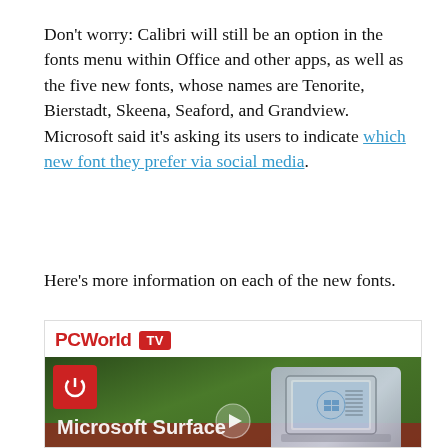Don't worry: Calibri will still be an option in the fonts menu within Office and other apps, as well as the five new fonts, whose names are Tenorite, Bierstadt, Skeena, Seaford, and Grandview. Microsoft said it's asking its users to indicate which new font they prefer via social media.
Here's more information on each of the new fonts.
[Figure (screenshot): PCWorld TV video player thumbnail showing Microsoft Surface laptop with greenery in background and play button overlay]